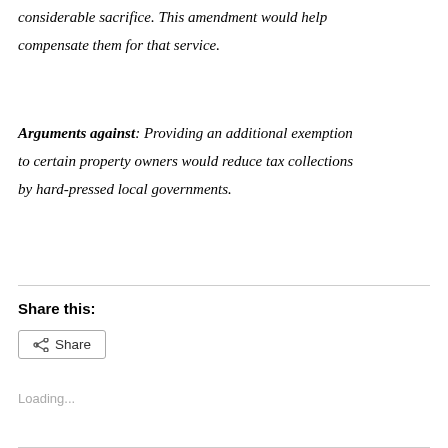considerable sacrifice. This amendment would help compensate them for that service.
Arguments against: Providing an additional exemption to certain property owners would reduce tax collections by hard-pressed local governments.
Share this:
[Figure (other): Share button with share icon]
Loading...